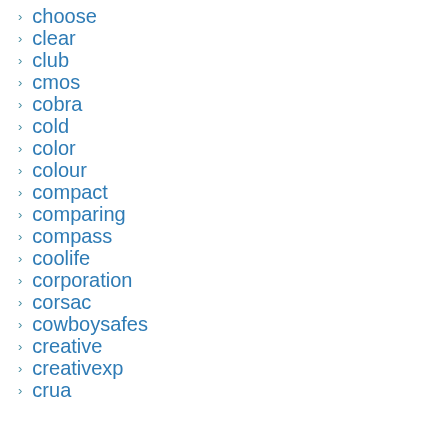choose
clear
club
cmos
cobra
cold
color
colour
compact
comparing
compass
coolife
corporation
corsac
cowboysafes
creative
creativexp
crua